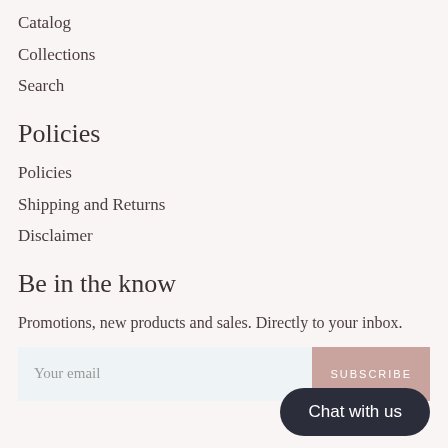Catalog
Collections
Search
Policies
Policies
Shipping and Returns
Disclaimer
Be in the know
Promotions, new products and sales. Directly to your inbox.
Your email
SUBSCRIBE
Chat with us